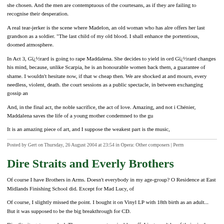she chosen. And the men are contemptuous of the courtesans, as if they are failing to recognise their desperation.
A real tear-jerker is the scene where Madelon, an old woman who has already offers her last grandson as a soldier. "The last child of my old blood. I shall enhance the portentious, doomed atmosphere.
In Act 3, Gï¿½rard is going to rape Maddalena. She decides to yield in order Gï¿½rard changes his mind, because, unlike Scarpia, he is an honourable women back them, a guarantee of shame. I wouldn't hesitate now, if that w cheap then. We are shocked at and mourn, every needless, violent, death. the court sessions as a public spectacle, in between exchanging gossip an
And, in the final act, the noble sacrifice, the act of love. Amazing, and not i Chénier, Maddalena saves the life of a young mother condemned to the gu
It is an amazing piece of art, and I suppose the weakest part is the music,
Posted by Gert on Thursday, 26 August 2004 at 23:54 in Opera: Other composers | Perm
Dire Straits and Everly Brothers
Of course I have Brothers in Arms. Doesn't everybody in my age-group? O Residence at East Midlands Finishing School did. Except for Mad Lucy, of
Of course, I slightly missed the point. I bought it on Vinyl LP with 18th birth as an adult... But it was supposed to be the big breakthrough for CD.
Dire Straits get a raw deal. They are seen as terminably naff. I just won't bu of their singles with which I am familiar - Sultans of Swing, Romeo and Juli